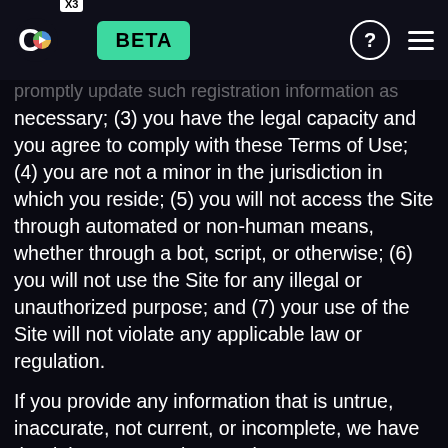(1) all registration information you submit will be
[Figure (logo): COX3 logo with circular icon and BETA badge in teal]
promptly update such registration information as necessary; (3) you have the legal capacity and you agree to comply with these Terms of Use; (4) you are not a minor in the jurisdiction in which you reside; (5) you will not access the Site through automated or non-human means, whether through a bot, script, or otherwise; (6) you will not use the Site for any illegal or unauthorized purpose; and (7) your use of the Site will not violate any applicable law or regulation.
If you provide any information that is untrue, inaccurate, not current, or incomplete, we have the right to suspend or terminate your account and refuse any and all current or future use of the Site (or any portion thereof).